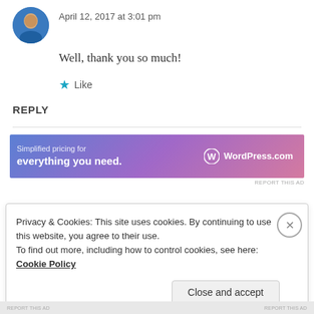April 12, 2017 at 3:01 pm
Well, thank you so much!
★ Like
REPLY
[Figure (infographic): WordPress.com advertisement banner: 'Simplified pricing for everything you need.' with WordPress.com logo on gradient background]
REPORT THIS AD
Privacy & Cookies: This site uses cookies. By continuing to use this website, you agree to their use. To find out more, including how to control cookies, see here: Cookie Policy
Close and accept